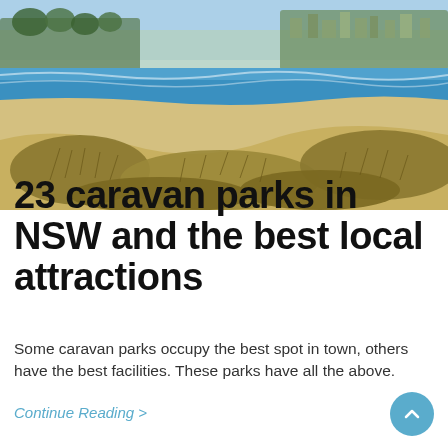[Figure (photo): Coastal beach scene with sandy dunes covered in dry grass in the foreground, blue ocean with gentle waves in the middle, and a suburb/town visible on a headland in the background under a blue sky.]
23 caravan parks in NSW and the best local attractions
Some caravan parks occupy the best spot in town, others have the best facilities. These parks have all the above.
Continue Reading >